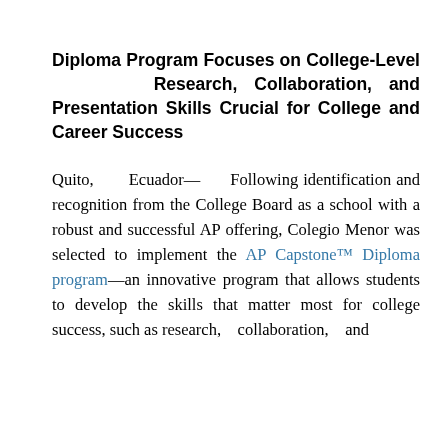Diploma Program Focuses on College-Level Research, Collaboration, and Presentation Skills Crucial for College and Career Success
Quito, Ecuador— Following identification and recognition from the College Board as a school with a robust and successful AP offering, Colegio Menor was selected to implement the AP Capstone™ Diploma program—an innovative program that allows students to develop the skills that matter most for college success, such as research, collaboration, and